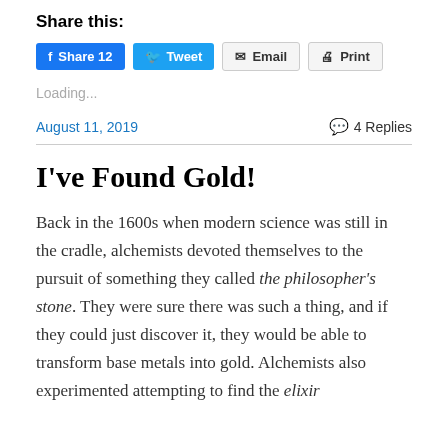Share this:
Share 12  Tweet  Email  Print
Loading...
August 11, 2019   4 Replies
I've Found Gold!
Back in the 1600s when modern science was still in the cradle, alchemists devoted themselves to the pursuit of something they called the philosopher's stone.  They were sure there was such a thing, and if they could just discover it, they would be able to transform base metals into gold. Alchemists also experimented attempting to find the elixir